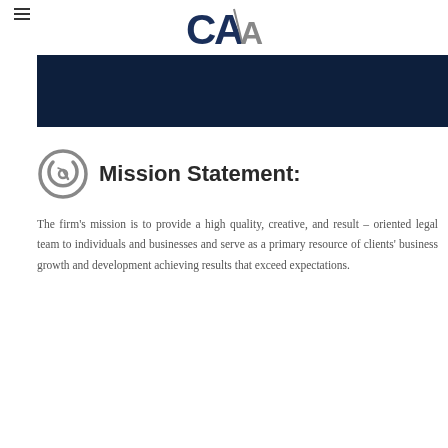[Figure (logo): CAA logo with stylized C, A, A letters in dark navy and gray]
[Figure (illustration): Dark navy banner/header background strip]
Mission Statement:
The firm's mission is to provide a high quality, creative, and result – oriented legal team to individuals and businesses and serve as a primary resource of clients' business growth and development achieving results that exceed expectations.